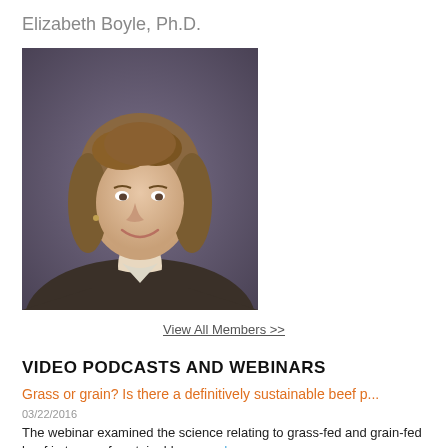Elizabeth Boyle, Ph.D.
[Figure (photo): Professional headshot of Elizabeth Boyle, Ph.D., a woman with shoulder-length wavy brown hair wearing a dark brown blazer, smiling, against a dark grey/purple background.]
View All Members >>
VIDEO PODCASTS AND WEBINARS
Grass or grain? Is there a definitively sustainable beef p...
03/22/2016
The webinar examined the science relating to grass-fed and grain-fed beef in terms of sustainable... read more »